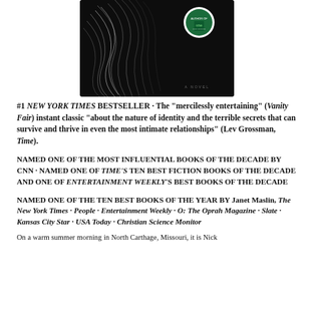[Figure (photo): Book cover image — dark/black background with white wispy lines, a circular author badge in the top right (white circle with green background showing author photo and text 'AUTHOR OF'), and 'A NOVEL' text at the bottom right in small caps.]
#1 NEW YORK TIMES BESTSELLER · The "mercilessly entertaining" (Vanity Fair) instant classic "about the nature of identity and the terrible secrets that can survive and thrive in even the most intimate relationships" (Lev Grossman, Time).
NAMED ONE OF THE MOST INFLUENTIAL BOOKS OF THE DECADE BY CNN · NAMED ONE OF TIME'S TEN BEST FICTION BOOKS OF THE DECADE AND ONE OF ENTERTAINMENT WEEKLY'S BEST BOOKS OF THE DECADE
NAMED ONE OF THE TEN BEST BOOKS OF THE YEAR BY Janet Maslin, The New York Times · People · Entertainment Weekly · O: The Oprah Magazine · Slate · Kansas City Star · USA Today · Christian Science Monitor
On a warm summer morning in North Carthage, Missouri, it is Nick